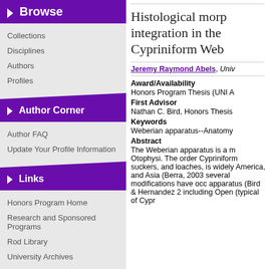Browse
Collections
Disciplines
Authors
Profiles
Author Corner
Author FAQ
Update Your Profile Information
Links
Honors Program Home
Research and Sponsored Programs
Rod Library
University Archives
New Posts
Histological morp integration in the Cypriniform Web
Jeremy Raymond Abels, Univ
Award/Availability
Honors Program Thesis (UNI A
First Advisor
Nathan C. Bird, Honors Thesis
Keywords
Weberian apparatus--Anatomy
Abstract
The Weberian apparatus is a m Otophysi. The order Cypriniform suckers, and loaches, is widely America, and Asia (Berra, 2003 several modifications have occ apparatus (Bird & Hernandez 2 including Open (typical of Cypr